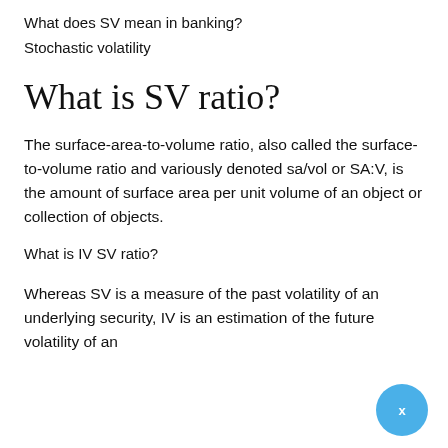What does SV mean in banking?
Stochastic volatility
What is SV ratio?
The surface-area-to-volume ratio, also called the surface-to-volume ratio and variously denoted sa/vol or SA:V, is the amount of surface area per unit volume of an object or collection of objects.
What is IV SV ratio?
Whereas SV is a measure of the past volatility of an underlying security, IV is an estimation of the future volatility of an underlying security. It is basically a projection of how much...